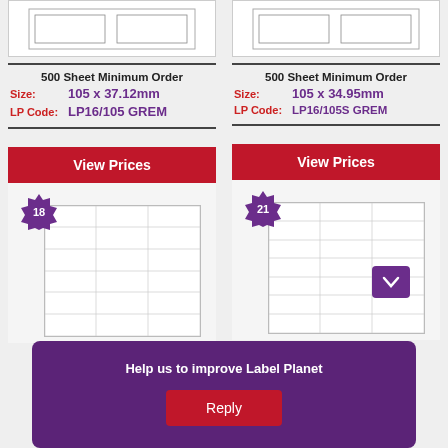[Figure (illustration): Label sheet diagram for 16-per-sheet labels, left column top]
500 Sheet Minimum Order
Size: 105 x 37.12mm
LP Code: LP16/105 GREM
View Prices
[Figure (illustration): Label sheet grid preview with badge showing 18 labels, left column]
[Figure (illustration): Label sheet diagram for 16-per-sheet labels, right column top]
500 Sheet Minimum Order
Size: 105 x 34.95mm
LP Code: LP16/105S GREM
View Prices
[Figure (illustration): Label sheet grid preview with badge showing 21 labels, right column]
Help us to improve Label Planet
Reply